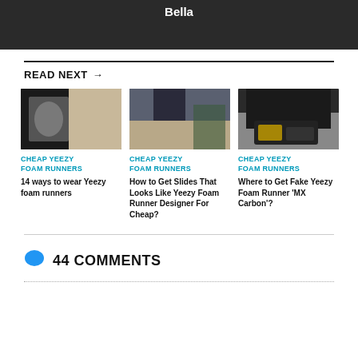[Figure (photo): Dark banner with 'Bella' text in white]
READ NEXT →
[Figure (photo): Close-up of shoes/feet on steps - Yeezy foam runners]
CHEAP YEEZY FOAM RUNNERS
14 ways to wear Yeezy foam runners
[Figure (photo): Person wearing Yeezy foam runners outdoors]
CHEAP YEEZY FOAM RUNNERS
How to Get Slides That Looks Like Yeezy Foam Runner Designer For Cheap?
[Figure (photo): Black and yellow Yeezy Foam Runner MX Carbon shoes]
CHEAP YEEZY FOAM RUNNERS
Where to Get Fake Yeezy Foam Runner 'MX Carbon'?
44 COMMENTS